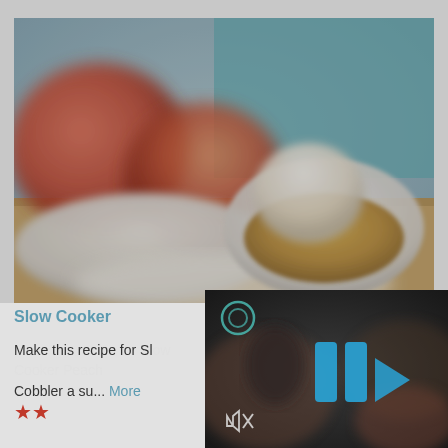[Figure (photo): Blurred close-up food photo showing peaches in a bowl on the left and a white bowl with peach cobbler topped with ice cream on the right, on a wooden surface with teal background]
Slow Cooker
Make this recipe for Sl... Cobbler a su... More
[Figure (screenshot): Video player overlay on dark background showing two blue vertical bars (pause icon) and a blue play triangle icon, with a mute/speaker icon at bottom left and a circular icon at top left. Background shows blurred food/cooking imagery.]